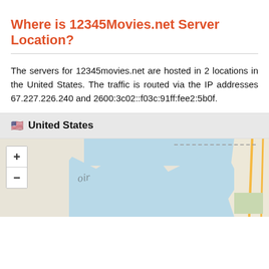Where is 12345Movies.net Server Location?
The servers for 12345movies.net are hosted in 2 locations in the United States. The traffic is routed via the IP addresses 67.227.226.240 and 2600:3c02::f03c:91ff:fee2:5b0f.
🇺🇸 United States
[Figure (map): Map showing United States server location with zoom controls (+/-) and a partial view of a geographic map with blue water areas, land areas, and road markings.]